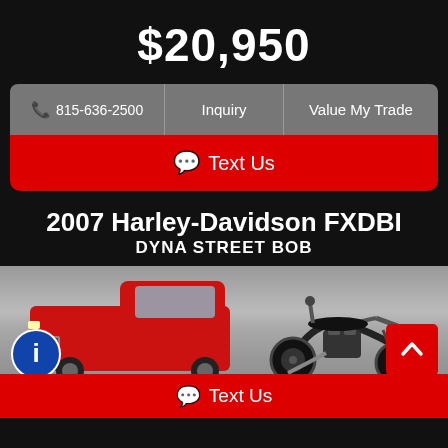$20,950
📞 815-636-2500 | Inquiry | Value My Trade
💬 Text Us
2007 Harley-Davidson FXDBI
DYNA STREET BOB
[Figure (photo): Photo of a 2007 Harley-Davidson FXDBI Dyna Street Bob motorcycle in a parking lot with a red pickup truck in the background]
💬 Text Us